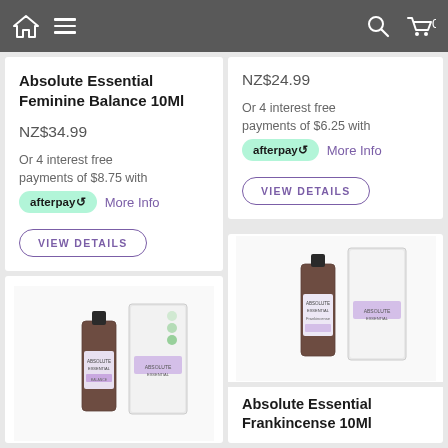Navigation bar with home icon, menu, search, and cart (0)
Absolute Essential Feminine Balance 10Ml
NZ$34.99
Or 4 interest free payments of $8.75 with afterpay More Info
VIEW DETAILS
NZ$24.99
Or 4 interest free payments of $6.25 with afterpay More Info
VIEW DETAILS
[Figure (photo): Absolute Essential product bottle and box - lower left card]
[Figure (photo): Absolute Essential Frankincense 10Ml product bottle and white box]
Absolute Essential Frankincense 10Ml